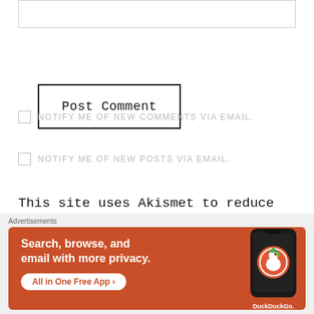[Figure (screenshot): Text input box (textarea) at top of page, partially visible]
[Figure (screenshot): Post Comment button with black border]
NOTIFY ME OF NEW COMMENTS VIA EMAIL.
NOTIFY ME OF NEW POSTS VIA EMAIL.
This site uses Akismet to reduce spam. Learn how your comment data is processed.
[Figure (screenshot): DuckDuckGo advertisement banner: Search, browse, and email with more privacy. All in One Free App.]